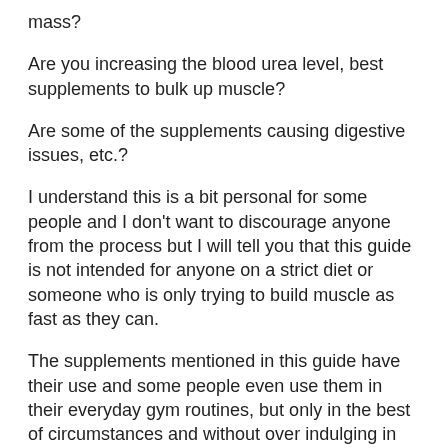mass?
Are you increasing the blood urea level, best supplements to bulk up muscle?
Are some of the supplements causing digestive issues, etc.?
I understand this is a bit personal for some people and I don't want to discourage anyone from the process but I will tell you that this guide is not intended for anyone on a strict diet or someone who is only trying to build muscle as fast as they can.
The supplements mentioned in this guide have their use and some people even use them in their everyday gym routines, but only in the best of circumstances and without over indulging in too much to get big gains, bowel bulking agent.